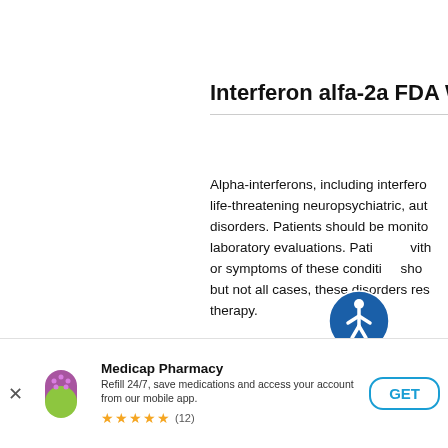Interferon alfa-2a FDA Wa
Alpha-interferons, including interfero life-threatening neuropsychiatric, aut disorders. Patients should be monito laboratory evaluations. Pati with or symptoms of these conditions sho but not all cases, these disorders res therapy.
Contributors
[Figure (other): Accessibility icon — blue circle with white wheelchair user symbol]
Medicap Pharmacy
Refill 24/7, save medications and access your account from our mobile app.
★★★★★ (12)